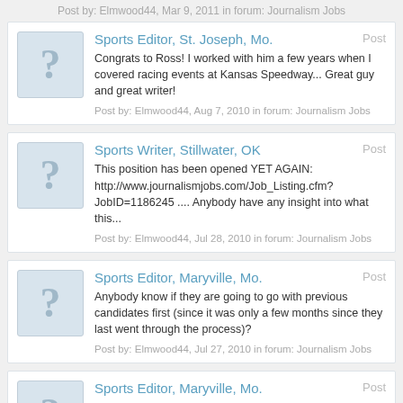Post by: Elmwood44, Mar 9, 2011 in forum: Journalism Jobs
Sports Editor, St. Joseph, Mo.
Congrats to Ross! I worked with him a few years when I covered racing events at Kansas Speedway... Great guy and great writer!
Post by: Elmwood44, Aug 7, 2010 in forum: Journalism Jobs
Sports Writer, Stillwater, OK
This position has been opened YET AGAIN: http://www.journalismjobs.com/Job_Listing.cfm?JobID=1186245 .... Anybody have any insight into what this...
Post by: Elmwood44, Jul 28, 2010 in forum: Journalism Jobs
Sports Editor, Maryville, Mo.
Anybody know if they are going to go with previous candidates first (since it was only a few months since they last went through the process)?
Post by: Elmwood44, Jul 27, 2010 in forum: Journalism Jobs
Sports Editor, Maryville, Mo.
This job was just reposted to JJ this morning. Any word on what happened to the guy who apparently has only been there a month or two?
Post by: Elmwood44, Jul 19, 2010 in forum: Journalism Jobs
Sports Copy Editor, Tulsa, OK
Any idea what's going on with all the "turnover"? They constantly firing...